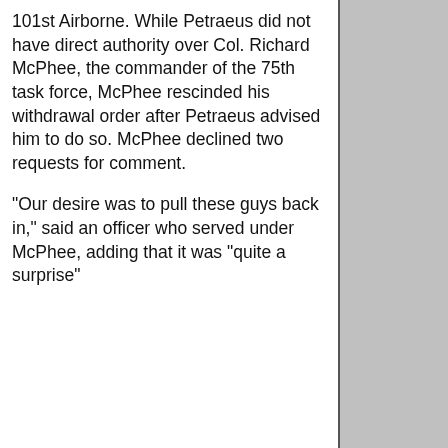101st Airborne. While Petraeus did not have direct authority over Col. Richard McPhee, the commander of the 75th task force, McPhee rescinded his withdrawal order after Petraeus advised him to do so. McPhee declined two requests for comment.
"Our desire was to pull these guys back in," said an officer who served under McPhee, adding that it was "quite a surprise"